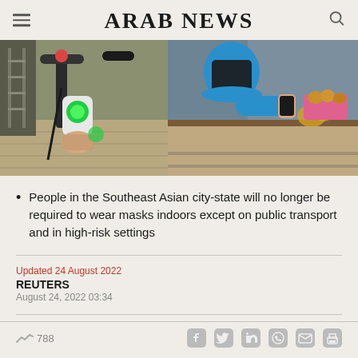ARAB NEWS
[Figure (photo): Two side-by-side photos: left shows hands holding a glowing green device on a bicycle/scooter handlebar on a brick pathway; right shows a person in a blue top at what appears to be a market or store, looking at a phone.]
People in the Southeast Asian city-state will no longer be required to wear masks indoors except on public transport and in high-risk settings
Updated 24 August 2022
REUTERS
August 24, 2022 03:34
788